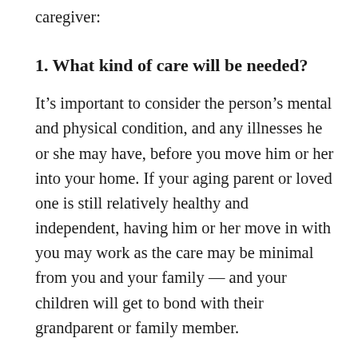caregiver:
1. What kind of care will be needed?
It’s important to consider the person’s mental and physical condition, and any illnesses he or she may have, before you move him or her into your home. If your aging parent or loved one is still relatively healthy and independent, having him or her move in with you may work as the care may be minimal from you and your family — and your children will get to bond with their grandparent or family member.
However, moving parents out of their family home usually happens when there is some sort of